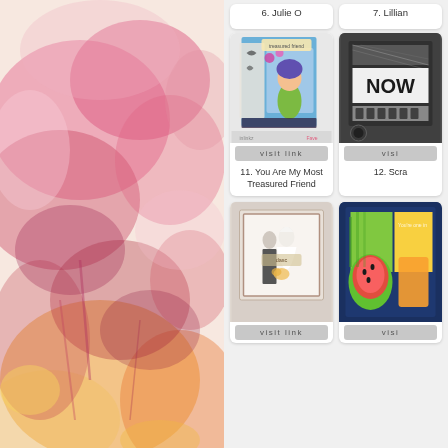[Figure (illustration): Watercolor painting with pink, red, magenta, orange, and yellow abstract floral/leaf shapes on a light background, occupying the left half of the page.]
[Figure (screenshot): Grid of craft card thumbnails on a light gray background. Top row shows partial cards labeled '6. Julie O' and '7. Lillian'. Middle row shows card '11. You Are My Most Treasured Friend' (colorful illustrated card with character) and '12. Scra...' (black framed card with 'NOW' text). Bottom row shows a wedding couple card and a colorful fruit-themed card, both with 'visit link' buttons.]